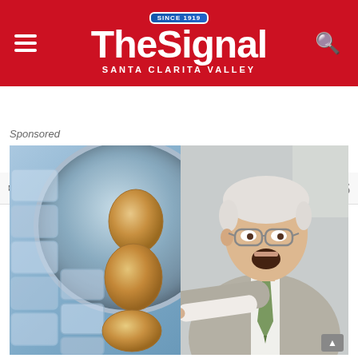The Signal — Santa Clarita Valley (Since 1919)
Subscribe  Add Disqus  Do Not Sell My Data  DISQUS
Sponsored
[Figure (photo): Advertisement image showing eggs arranged on blue ice blocks beside a circular metallic reflective surface, with an older grey-haired man in a beige suit and glasses pointing at the eggs with a surprised/excited expression]